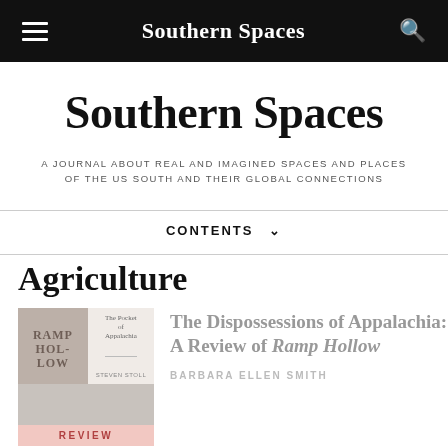Southern Spaces
Southern Spaces
A JOURNAL ABOUT REAL AND IMAGINED SPACES AND PLACES OF THE US SOUTH AND THEIR GLOBAL CONNECTIONS
CONTENTS
Agriculture
[Figure (photo): Book covers for Ramp Hollow and a photograph, with a pink REVIEW label at the bottom]
The Dispossessions of Appalachia: A Review of Ramp Hollow
BARBARA ELLEN SMITH